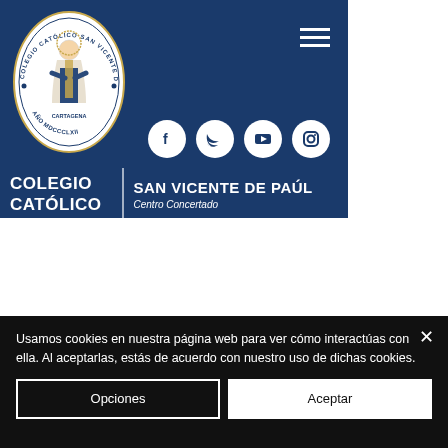[Figure (logo): Colegio Católico San Vicente de Paúl oval logo with priest figure, text around border reading COLEGIO CATÓLICO SAN VICENTE DE PAÚL, FUNDACIÓN ALMA MATER, AÑO MDCCCLXII, CARTAGENA]
[Figure (infographic): Header with school name: COLEGIO CATÓLICO | SAN VICENTE DE PAÚL Centro Concertado, social media icons (Facebook, Twitter, YouTube, Instagram), hamburger menu icon]
Usamos cookies en nuestra página web para ver cómo interactúas con ella. Al aceptarlas, estás de acuerdo con nuestro uso de dichas cookies.
Opciones
Aceptar